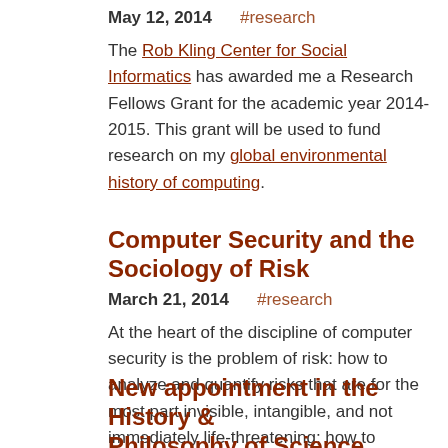May 12, 2014    #research
The Rob Kling Center for Social Informatics has awarded me a Research Fellows Grant for the academic year 2014-2015. This grant will be used to fund research on my global environmental history of computing.
Computer Security and the Sociology of Risk
March 21, 2014    #research
At the heart of the discipline of computer security is the problem of risk: how to analyze and quantify risks that are for the most part invisible, intangible, and not immediately life-threatening; how to communicate risk to computer users, software... <more>
New appointment in the History & Philosophy of Science
February 20, 2014    #teaching    #research